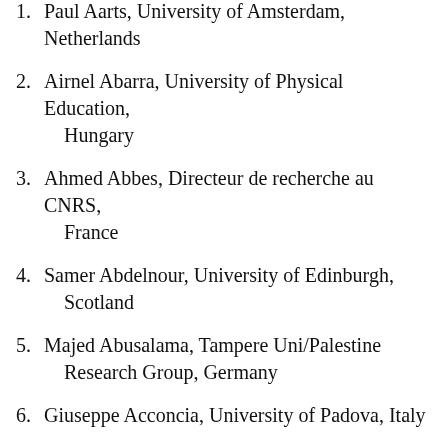1. Paul Aarts, University of Amsterdam, Netherlands
2. Airnel Abarra, University of Physical Education, Hungary
3. Ahmed Abbes, Directeur de recherche au CNRS, France
4. Samer Abdelnour, University of Edinburgh, Scotland
5. Majed Abusalama, Tampere Uni/Palestine Research Group, Germany
6. Giuseppe Acconcia, University of Padova, Italy
7. Gilbert Achcar, SOAS, University of London, United Kingdom
8. Jonas Adriaensens, Ghent University, Belgium
9. Ofer Aharony, Weizmann Institute, Israel